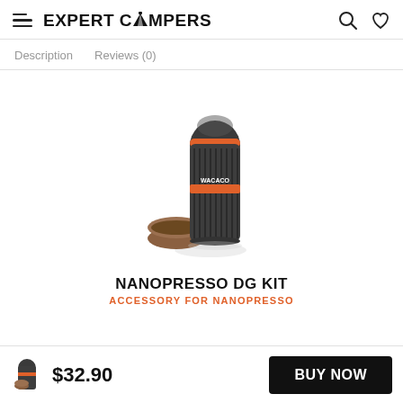EXPERT CAMPERS
Description   Reviews (0)
[Figure (photo): Wacaco Nanopresso DG Kit product photo showing a dark gray ribbed portable espresso maker with orange accent ring and cap, alongside a brown Nespresso-compatible capsule adapter]
NANOPRESSO DG KIT
ACCESSORY FOR NANOPRESSO
$32.90   BUY NOW